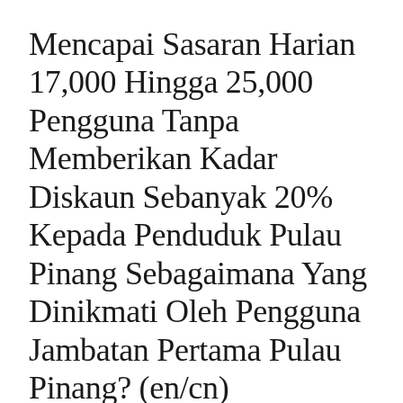Mencapai Sasaran Harian 17,000 Hingga 25,000 Pengguna Tanpa Memberikan Kadar Diskaun Sebanyak 20% Kepada Penduduk Pulau Pinang Sebagaimana Yang Dinikmati Oleh Pengguna Jambatan Pertama Pulau Pinang? (en/cn)
Penang / By admin
Kenyataan Akhbar Ketua Menteri Pulau Pinang Lim Guan Eng